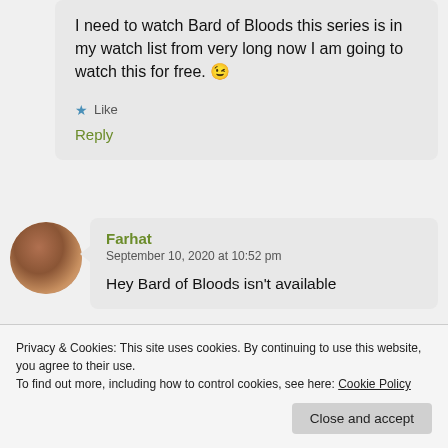I need to watch Bard of Bloods this series is in my watch list from very long now I am going to watch this for free. 😉
★ Like
Reply
Farhat
September 10, 2020 at 10:52 pm
Hey Bard of Bloods isn't available
Privacy & Cookies: This site uses cookies. By continuing to use this website, you agree to their use.
To find out more, including how to control cookies, see here: Cookie Policy
Close and accept